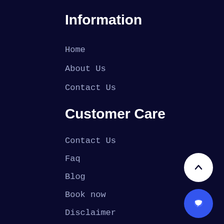Information
Home
About Us
Contact Us
Customer Care
Contact Us
Faq
Blog
Book now
Disclaimer
Terms & Conditions
Privacy Policy
Terms of Use
Short Courses
Get Connected